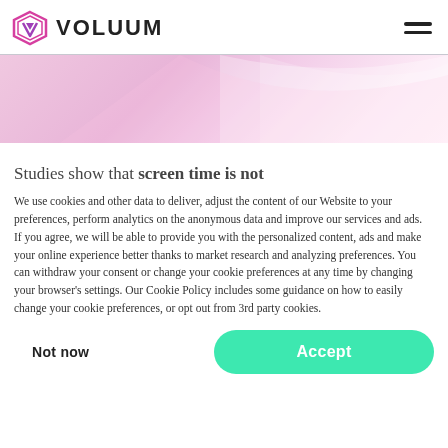VOLUUM
[Figure (illustration): Pink/lavender gradient banner with wave design]
Studies show that screen time is not
We use cookies and other data to deliver, adjust the content of our Website to your preferences, perform analytics on the anonymous data and improve our services and ads. If you agree, we will be able to provide you with the personalized content, ads and make your online experience better thanks to market research and analyzing preferences. You can withdraw your consent or change your cookie preferences at any time by changing your browser's settings. Our Cookie Policy includes some guidance on how to easily change your cookie preferences, or opt out from 3rd party cookies.
Not now | Accept